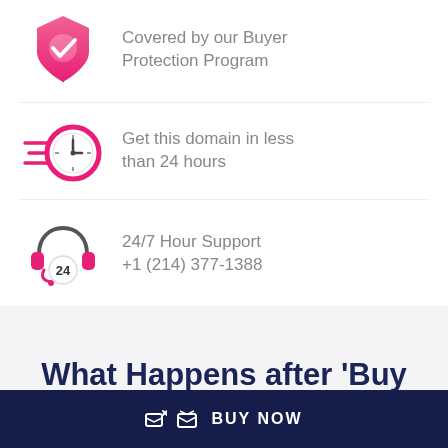[Figure (illustration): Pink shield icon with checkmark - Covered by our Buyer Protection Program]
Covered by our Buyer Protection Program
[Figure (illustration): Pink clock with speed lines - Get this domain in less than 24 hours]
Get this domain in less than 24 hours
[Figure (illustration): Dark headset with 24 badge - 24/7 Hour Support]
24/7 Hour Support
+1 (214) 377-1388
What Happens after 'Buy Now'?
BUY NOW